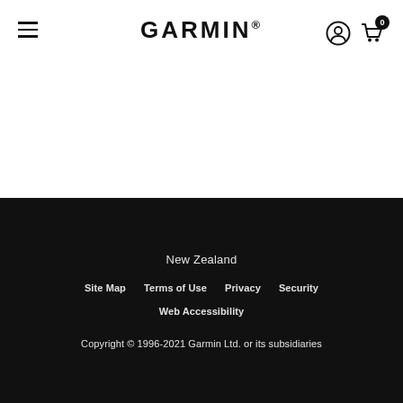GARMIN® (navigation bar with hamburger menu, user icon, and cart with 0 items)
New Zealand
Site Map    Terms of Use    Privacy    Security
Web Accessibility
Copyright © 1996-2021 Garmin Ltd. or its subsidiaries